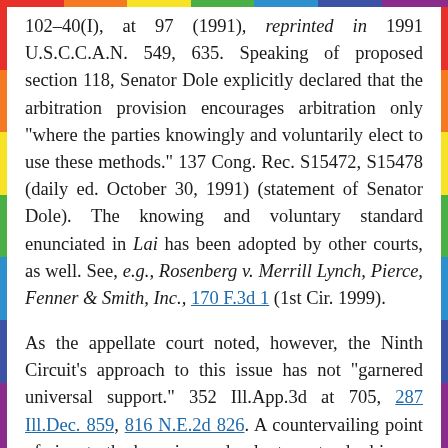102–40(I), at 97 (1991), reprinted in 1991 U.S.C.C.A.N. 549, 635. Speaking of proposed section 118, Senator Dole explicitly declared that the arbitration provision encourages arbitration only "where the parties knowingly and voluntarily elect to use these methods." 137 Cong. Rec. S15472, S15478 (daily ed. October 30, 1991) (statement of Senator Dole). The knowing and voluntary standard enunciated in Lai has been adopted by other courts, as well. See, e.g., Rosenberg v. Merrill Lynch, Pierce, Fenner & Smith, Inc., 170 F.3d 1 (1st Cir. 1999).
As the appellate court noted, however, the Ninth Circuit's approach to this issue has not "garnered universal support." 352 Ill.App.3d at 705, 287 Ill.Dec. 859, 816 N.E.2d 826. A countervailing point of view to the knowing and voluntary standard is one which holds that the determination of the enforceability of a mandatory arbitration agreement between